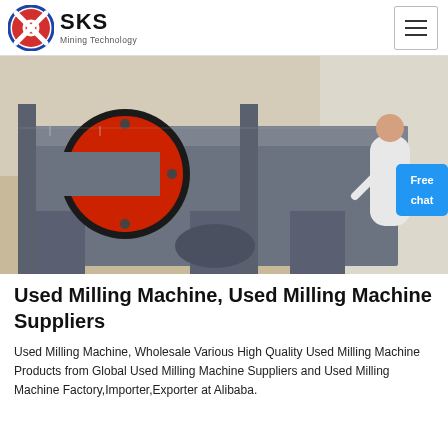SKS Mining Technology
[Figure (photo): Industrial milling machine with red circular disc on the left side, gray metal frame and body, photographed in a factory warehouse setting.]
Used Milling Machine, Used Milling Machine Suppliers
Used Milling Machine, Wholesale Various High Quality Used Milling Machine Products from Global Used Milling Machine Suppliers and Used Milling Machine Factory,Importer,Exporter at Alibaba.